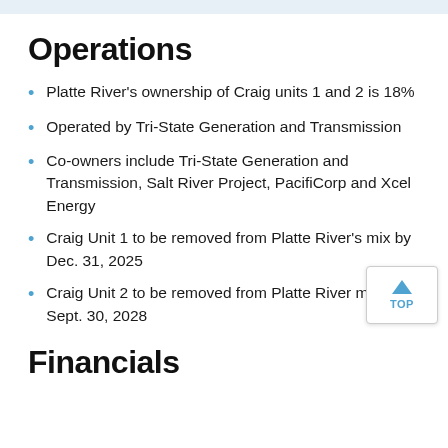Operations
Platte River's ownership of Craig units 1 and 2 is 18%
Operated by Tri-State Generation and Transmission
Co-owners include Tri-State Generation and Transmission, Salt River Project, PacifiCorp and Xcel Energy
Craig Unit 1 to be removed from Platte River's mix by Dec. 31, 2025
Craig Unit 2 to be removed from Platte River mix by Sept. 30, 2028
Financials